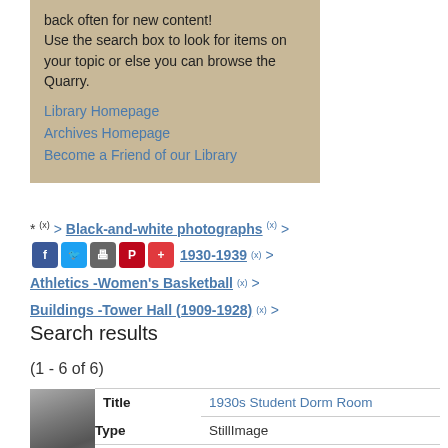back often for new content! Use the search box to look for items on your topic or else you can browse the Quarry.
Library Homepage
Archives Homepage
Become a Friend of our Library
* (x) > Black-and-white photographs (x) > 1930-1939 (x) > Athletics -Women's Basketball (x) > Buildings -Tower Hall (1909-1928) (x) >
Search results
(1 - 6 of 6)
|  | Field | Value |
| --- | --- | --- |
| [thumbnail] | Title | 1930s Student Dorm Room |
|  | Type | StillImage |
|  | Descriptio | This was a typical student room |